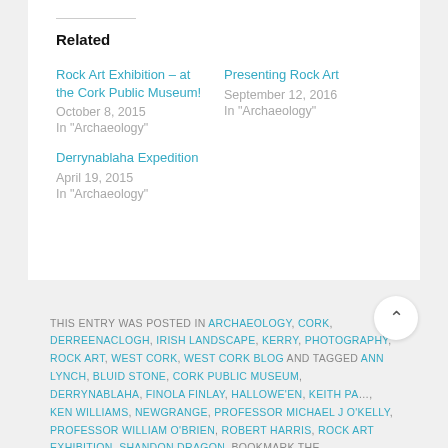Related
Rock Art Exhibition – at the Cork Public Museum!
October 8, 2015
In "Archaeology"
Presenting Rock Art
September 12, 2016
In "Archaeology"
Derrynablaha Expedition
April 19, 2015
In "Archaeology"
THIS ENTRY WAS POSTED IN ARCHAEOLOGY, CORK, DERREENACLOGH, IRISH LANDSCAPE, KERRY, PHOTOGRAPHY, ROCK ART, WEST CORK, WEST CORK BLOG AND TAGGED ANN LYNCH, BLUID STONE, CORK PUBLIC MUSEUM, DERRYNABLAHA, FINOLA FINLAY, HALLOWE'EN, KEITH PA…, KEN WILLIAMS, NEWGRANGE, PROFESSOR MICHAEL J O'KELLY, PROFESSOR WILLIAM O'BRIEN, ROBERT HARRIS, ROCK ART EXHIBITION, SHANDON DRAGON. BOOKMARK THE